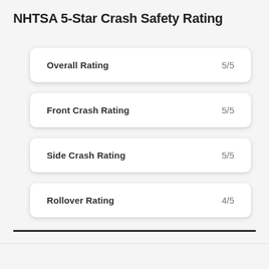NHTSA 5-Star Crash Safety Rating
| Rating Category | Score |
| --- | --- |
| Overall Rating | 5/5 |
| Front Crash Rating | 5/5 |
| Side Crash Rating | 5/5 |
| Rollover Rating | 4/5 |